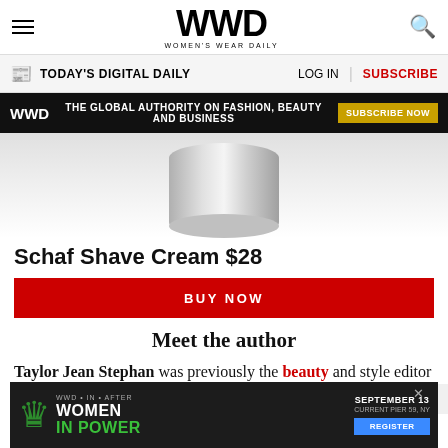WWD Women's Wear Daily
TODAY'S DIGITAL DAILY | LOG IN | SUBSCRIBE
WWD THE GLOBAL AUTHORITY ON FASHION, BEAUTY AND BUSINESS SUBSCRIBE NOW
[Figure (photo): Product image of Schaf Shave Cream container, partial view showing silver/metallic top]
Schaf Shave Cream $28
BUY NOW
Meet the author
Taylor Jean Stephan was previously the beauty and style editor title at E! News for five years, where she oversaw the shopping vertical and appeared
[Figure (infographic): Women In Power advertisement banner with chess queen piece graphic, September 13 event at Current Pier 59 NY, with Register button]